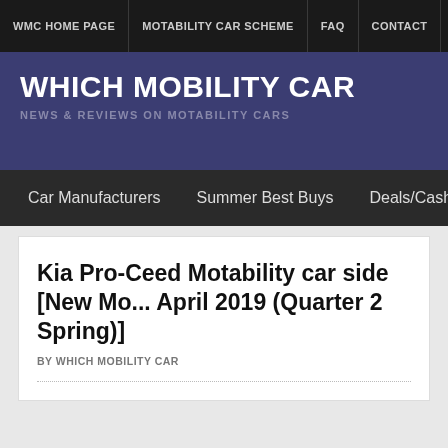WMC HOME PAGE | MOTABILITY CAR SCHEME | FAQ | CONTACT | LINKS | CA...
WHICH MOBILITY CAR
NEWS & REVIEWS ON MOTABILITY CARS
Car Manufacturers | Summer Best Buys | Deals/Cashback | Top...
Kia Pro-Ceed Motability car side [New Mo... April 2019 (Quarter 2 Spring)]
BY WHICH MOBILITY CAR